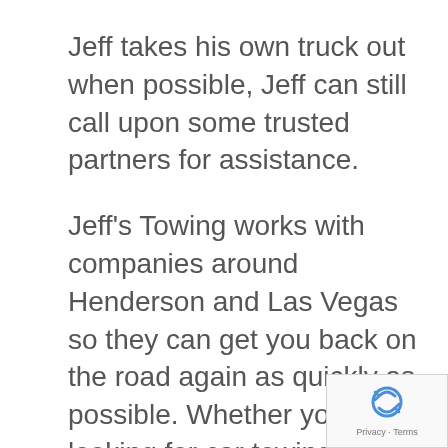Jeff takes his own truck out when possible, Jeff can still call upon some trusted partners for assistance.
Jeff's Towing works with companies around Henderson and Las Vegas so they can get you back on the road again as quickly as possible. Whether you're looking for car towing or truck towing, Jeff's Towing has got you covered! Other services include Emergency Road Side Service (try saying that 5 times fast). If your car dies, needs gas, or have a flat tire Jeff's Towing can help. Jeff's Towing specializes in all areas of towing, including car towing, motorcycle/bicycle towing, and even heavy equipment towing.
[Figure (logo): reCAPTCHA badge with Privacy and Terms links]